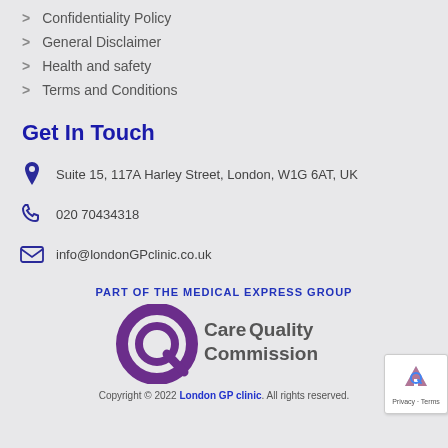> Confidentiality Policy
> General Disclaimer
> Health and safety
> Terms and Conditions
Get In Touch
Suite 15, 117A Harley Street, London, W1G 6AT, UK
020 70434318
info@londonGPclinic.co.uk
PART OF THE MEDICAL EXPRESS GROUP
[Figure (logo): Care Quality Commission logo with purple circular Q mark and grey/dark text]
Copyright © 2022 London GP clinic. All rights reserved.